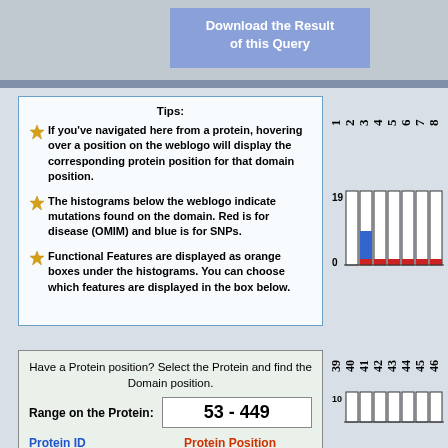[Figure (screenshot): Download the Result of this Query button in blue/purple]
Tips:
★ If you've navigated here from a protein, hovering over a position on the weblogo will display the corresponding protein position for that domain position.
★ The histograms below the weblogo indicate mutations found on the domain. Red is for disease (OMIM) and blue is for SNPs.
★ Functional Features are displayed as orange boxes under the histograms. You can choose which features are displayed in the box below.
[Figure (histogram): Histogram chart with axis numbers 1-8 at top and 0-19 scale on left, bars showing blue (SNP) and red (disease) mutations]
Have a Protein position? Select the Protein and find the Domain position.
Range on the Protein: 53 - 449
Protein ID
Protein Position
Q9BUB5
Calculate
[Figure (histogram): Second histogram section showing positions 39-46 on x-axis]